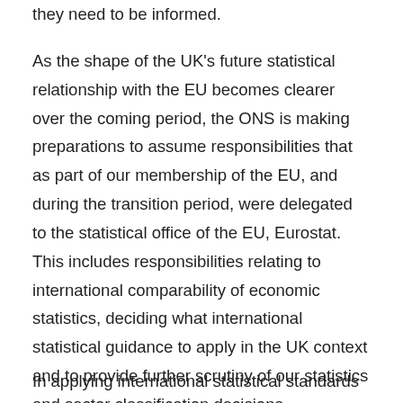they need to be informed.
As the shape of the UK's future statistical relationship with the EU becomes clearer over the coming period, the ONS is making preparations to assume responsibilities that as part of our membership of the EU, and during the transition period, were delegated to the statistical office of the EU, Eurostat. This includes responsibilities relating to international comparability of economic statistics, deciding what international statistical guidance to apply in the UK context and to provide further scrutiny of our statistics and sector classification decisions.
In applying international statistical standards and best